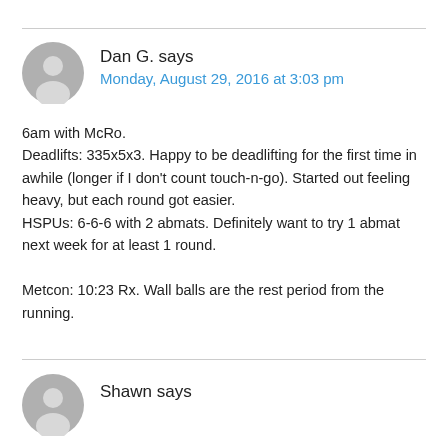Dan G. says
Monday, August 29, 2016 at 3:03 pm
6am with McRo.
Deadlifts: 335x5x3. Happy to be deadlifting for the first time in awhile (longer if I don't count touch-n-go). Started out feeling heavy, but each round got easier.
HSPUs: 6-6-6 with 2 abmats. Definitely want to try 1 abmat next week for at least 1 round.

Metcon: 10:23 Rx. Wall balls are the rest period from the running.
Shawn says